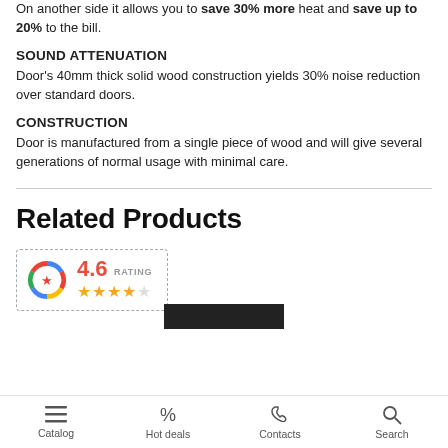On another side it allows you to save 30% more heat and save up to 20% to the bill.
SOUND ATTENUATION
Door's 40mm thick solid wood construction yields 30% noise reduction over standard doors.
CONSTRUCTION
Door is manufactured from a single piece of wood and will give several generations of normal usage with minimal care.
Related Products
[Figure (infographic): Rating badge showing 4.6 rating with Google-colored gear/badge icon and 4.5 gold stars with RATING label]
[Figure (photo): Product image partially visible at bottom - dark colored door]
Catalog | Hot deals | Contacts | Search